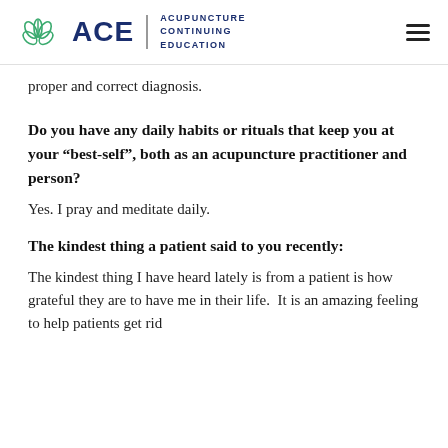ACE | ACUPUNCTURE CONTINUING EDUCATION
proper and correct diagnosis.
Do you have any daily habits or rituals that keep you at your “best-self”, both as an acupuncture practitioner and person?
Yes. I pray and meditate daily.
The kindest thing a patient said to you recently:
The kindest thing I have heard lately is from a patient is how grateful they are to have me in their life.  It is an amazing feeling to help patients get rid